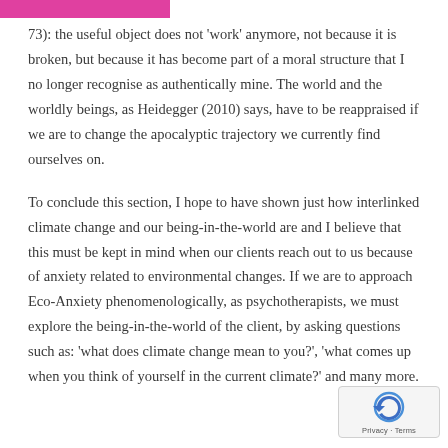73): the useful object does not 'work' anymore, not because it is broken, but because it has become part of a moral structure that I no longer recognise as authentically mine. The world and the worldly beings, as Heidegger (2010) says, have to be reappraised if we are to change the apocalyptic trajectory we currently find ourselves on.
To conclude this section, I hope to have shown just how interlinked climate change and our being-in-the-world are and I believe that this must be kept in mind when our clients reach out to us because of anxiety related to environmental changes. If we are to approach Eco-Anxiety phenomenologically, as psychotherapists, we must explore the being-in-the-world of the client, by asking questions such as: 'what does climate change mean to you?', 'what comes up when you think of yourself in the current climate?' and many more.